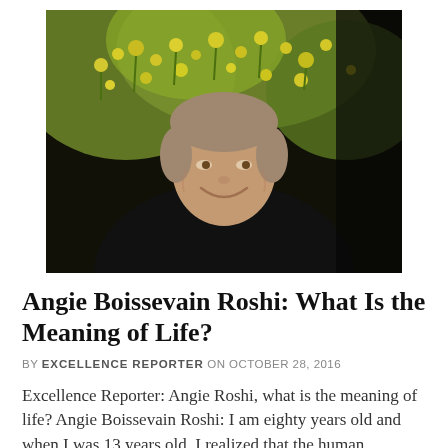[Figure (photo): Elderly woman with short light brown hair, smiling warmly, wearing a black top with white collar, standing in front of lush yellow flowering foliage with a dark background.]
Angie Boissevain Roshi: What Is the Meaning of Life?
BY EXCELLENCE REPORTER ON OCTOBER 28, 2016
Excellence Reporter: Angie Roshi, what is the meaning of life? Angie Boissevain Roshi: I am eighty years old and when I was 13 years old, I realized that the human being is a distinguished creature because